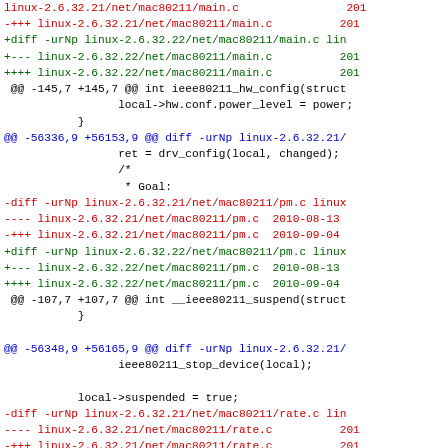Diff output showing Linux kernel mac80211 and related file diffs between versions 2.6.32.21 and 2.6.32.22
-+++ linux-2.6.32.21/net/mac80211/main.c  201
+diff -urNp linux-2.6.32.22/net/mac80211/main.c lin
+--- linux-2.6.32.22/net/mac80211/main.c  201
++++ linux-2.6.32.22/net/mac80211/main.c  201
@@ -145,7 +145,7 @@ int ieee80211_hw_config(struct
local->hw.conf.power_level = power;
}
@@ -56336,9 +56153,9 @@ diff -urNp linux-2.6.32.21/
ret = drv_config(local, changed);
/*
* Goal:
-diff -urNp linux-2.6.32.21/net/mac80211/pm.c linux
---- linux-2.6.32.21/net/mac80211/pm.c  2010-08-13
-+++ linux-2.6.32.21/net/mac80211/pm.c  2010-09-04
+diff -urNp linux-2.6.32.22/net/mac80211/pm.c linux
+--- linux-2.6.32.22/net/mac80211/pm.c  2010-08-13
++++ linux-2.6.32.22/net/mac80211/pm.c  2010-09-04
@@ -107,7 +107,7 @@ int __ieee80211_suspend(struct
}
@@ -56348,9 +56165,9 @@ diff -urNp linux-2.6.32.21/
ieee80211_stop_device(local);
local->suspended = true;
-diff -urNp linux-2.6.32.21/net/mac80211/rate.c lin
---- linux-2.6.32.21/net/mac80211/rate.c  201
-+++ linux-2.6.32.21/net/mac80211/rate.c  201
+diff -urNp linux-2.6.32.22/net/mac80211/rate.c lin
+--- linux-2.6.32.22/net/mac80211/rate.c  201
++++ linux-2.6.32.22/net/mac80211/rate.c  201